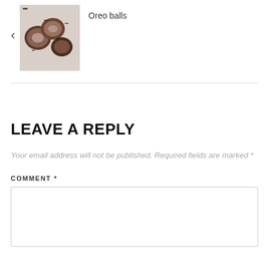[Figure (photo): Thumbnail photo of Oreo balls — chocolate and cream dessert balls with dark cookie crumble coating]
Oreo balls
LEAVE A REPLY
Your email address will not be published. Required fields are marked *
COMMENT *